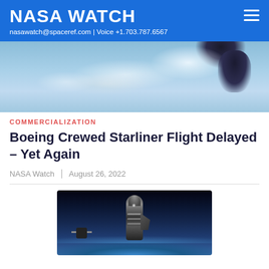NASA WATCH | nasawatch@spaceref.com | Voice +1.703.787.6567
[Figure (photo): Aerial or space view showing clouds and Earth surface, partial/cropped hero image at top of article]
COMMERCIALIZATION
Boeing Crewed Starliner Flight Delayed – Yet Again
NASA Watch | August 26, 2022
[Figure (photo): Illustration of a SpaceX Starship-like spacecraft in orbit above Earth, shown against a dark blue space background with Earth's atmosphere visible at the bottom]